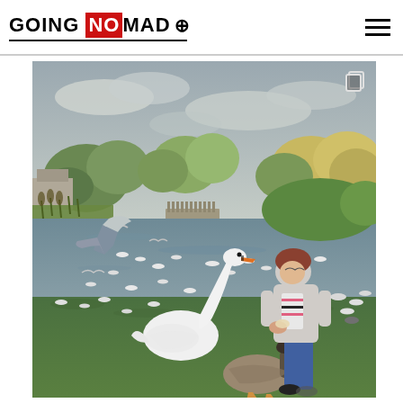GOING NOMAD (with compass icon)
[Figure (photo): A woman standing on grass beside a pond feeding birds. A large white mute swan stands in front of her, with numerous seagulls and a goose nearby. Trees and a wooden bridge are visible across the water under a cloudy sky.]